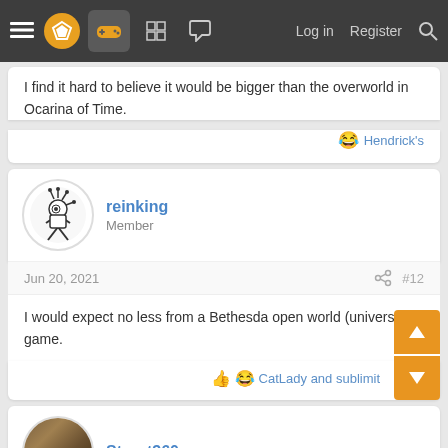≡ [logo] [gamepad] [grid] [chat] Log in Register [search]
I find it hard to believe it would be bigger than the overworld in Ocarina of Time.
😂 Hendrick's
reinking
Member
Jun 20, 2021  #12
I would expect no less from a Bethesda open world (universe?) game.
👍 😂 CatLady and sublimit
Stuart360